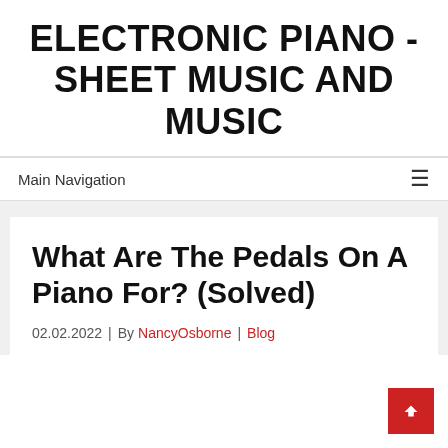ELECTRONIC PIANO - SHEET MUSIC AND MUSIC
Main Navigation
What Are The Pedals On A Piano For? (Solved)
02.02.2022 | By NancyOsborne | Blog